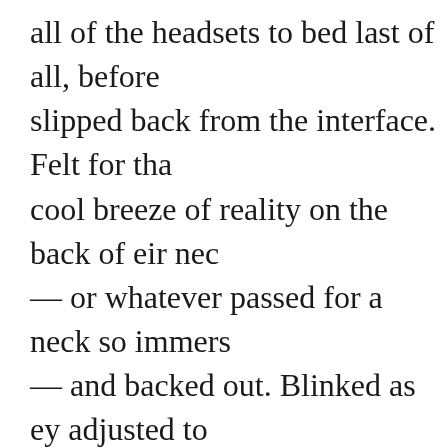all of the headsets to bed last of all, before slipped back from the interface. Felt for the cool breeze of reality on the back of eir nec — or whatever passed for a neck so immers — and backed out. Blinked as ey adjusted to seeing the cavernous hall with eir own eye. Lifted eir fingers slipped from the contact points and leaned back from the headrest.
	Ey shook eir head to clear it and stood, stretching, before ambling from the tech booth down the stairs towards the stage. Letting gravity carry eir lanky form down two steps at a time. Breeze against eir fac